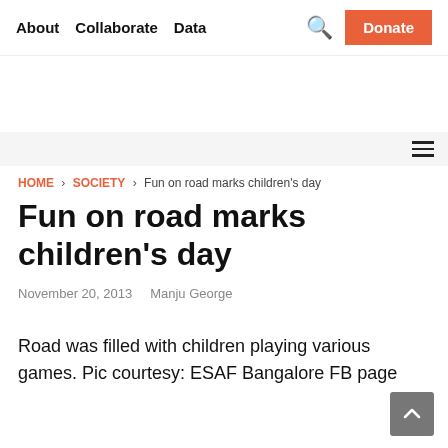About   Collaborate   Data   🔍   Donate
HOME > SOCIETY > Fun on road marks children's day
Fun on road marks children's day
November 20, 2013   Manju George
Road was filled with children playing various games. Pic courtesy: ESAF Bangalore FB page